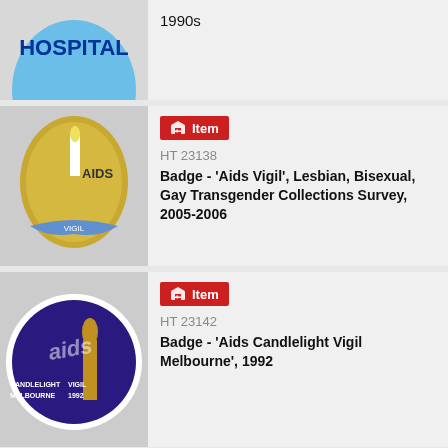[Figure (photo): Partial view of a blue hospital badge (top cropped), showing text HOSPITAL on a blue circular pin badge]
1990s
[Figure (photo): Gold oval AIDS Vigil badge with a white candle and yellow flame, blue ribbon banner at bottom]
Item
HT 23138
Badge - 'Aids Vigil', Lesbian, Bisexual, Gay Transgender Collections Survey, 2005-2006
[Figure (photo): Round purple badge with AIDS Candlelight Vigil Melbourne 1992 text and a gold candle flame design]
Item
HT 23142
Badge - 'Aids Candlelight Vigil Melbourne', 1992
[Figure (photo): Partial yellow circular badge showing A TIME TO ACT text with a black fist symbol]
Item
HT 23144